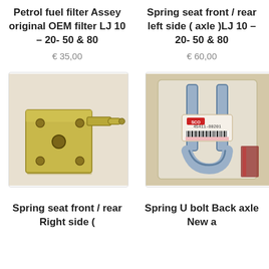Petrol fuel filter Assey original OEM filter LJ 10 – 20- 50 & 80
Spring seat front / rear left side ( axle )LJ 10 – 20- 50 & 80
€ 35,00
€ 60,00
[Figure (photo): Photo of a metal spring seat bracket, golden/brass colored with mounting holes and a pin, placed on white background.]
[Figure (photo): Photo of a U-bolt in plastic packaging with a Suzuki OEM label (part number 45411-80201), metallic silver color.]
Spring seat front / rear Right side (
Spring U bolt Back axle New a